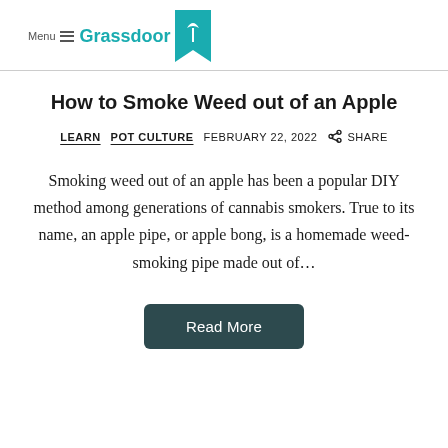Menu Grassdoor
How to Smoke Weed out of an Apple
LEARN   POT CULTURE   FEBRUARY 22, 2022   SHARE
Smoking weed out of an apple has been a popular DIY method among generations of cannabis smokers. True to its name, an apple pipe, or apple bong, is a homemade weed-smoking pipe made out of…
Read More